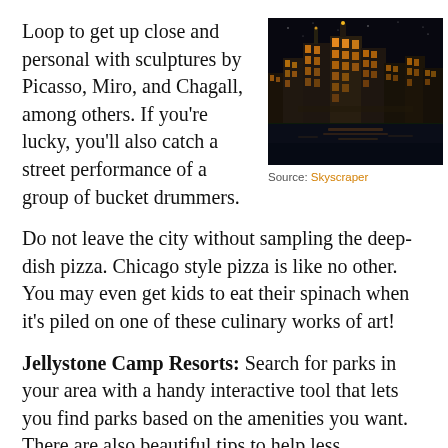Loop to get up close and personal with sculptures by Picasso, Miro, and Chagall, among others. If you're lucky, you'll also catch a street performance of a group of bucket drummers.
[Figure (photo): Chicago city skyline at night with glowing skyscrapers reflected in water]
Source: Skyscraper
Do not leave the city without sampling the deep-dish pizza. Chicago style pizza is like no other. You may even get kids to eat their spinach when it's piled on one of these culinary works of art!
Jellystone Camp Resorts: Search for parks in your area with a handy interactive tool that lets you find parks based on the amenities you want. There are also beautiful tips to help less experienced campers get